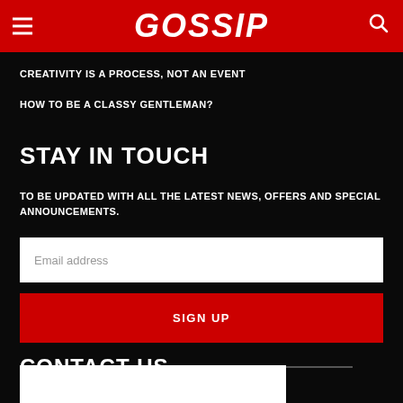GOSSIP
CREATIVITY IS A PROCESS, NOT AN EVENT
HOW TO BE A CLASSY GENTLEMAN?
STAY IN TOUCH
TO BE UPDATED WITH ALL THE LATEST NEWS, OFFERS AND SPECIAL ANNOUNCEMENTS.
Email address
SIGN UP
CONTACT US